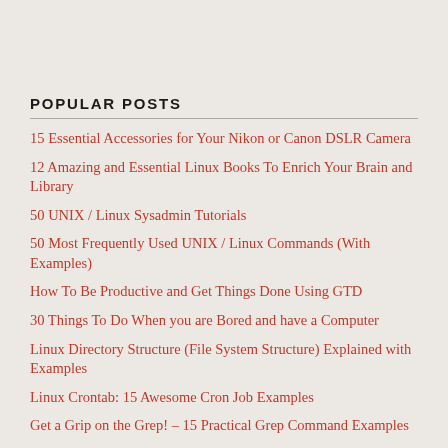POPULAR POSTS
15 Essential Accessories for Your Nikon or Canon DSLR Camera
12 Amazing and Essential Linux Books To Enrich Your Brain and Library
50 UNIX / Linux Sysadmin Tutorials
50 Most Frequently Used UNIX / Linux Commands (With Examples)
How To Be Productive and Get Things Done Using GTD
30 Things To Do When you are Bored and have a Computer
Linux Directory Structure (File System Structure) Explained with Examples
Linux Crontab: 15 Awesome Cron Job Examples
Get a Grip on the Grep! – 15 Practical Grep Command Examples
Unix LS Command: 15 Practical Examples